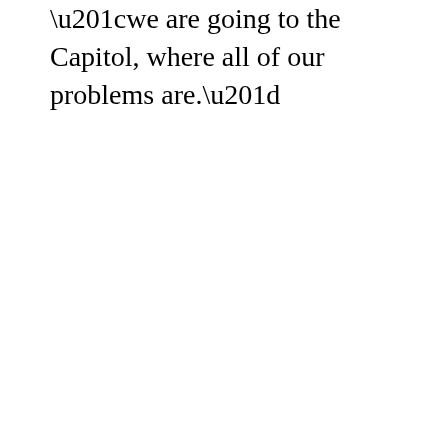“we are going to the Capitol, where all of our problems are.”